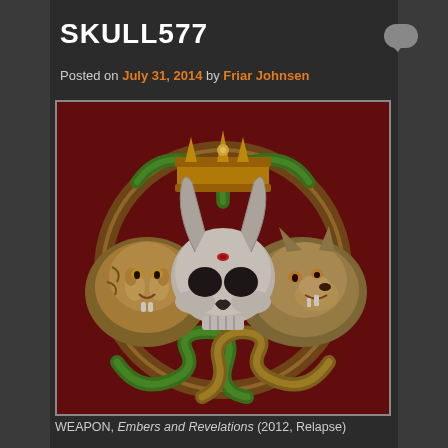SKULL577
Posted on July 31, 2014 by Friar Johnsen
[Figure (illustration): Album cover artwork showing a heraldic design on dark red background: a central silver skull with goat horns, flanked by a lion/tiger head on the left and a wolf head on the right, with green and yellow serpents intertwined around a circular Celtic-style border, topped by a gold crown with snakes wrapped around it.]
WEAPON, Embers and Revelations (2012, Relapse)